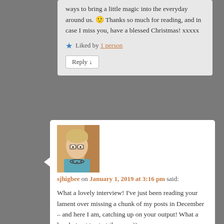ways to bring a little magic into the everyday around us. 🙂 Thanks so much for reading, and in case I miss you, have a blessed Christmas! xxxxx
★ Liked by 1 person
Reply ↓
[Figure (photo): Portrait photo of a woman with short blonde hair and glasses, wearing a teal/blue top and necklace]
sjhigbee on January 1, 2019 at 3:16 pm said: What a lovely interview! I've just been reading your lament over missing a chunk of my posts in December – and here I am, catching up on your output! What a lovely treat to start the year;))